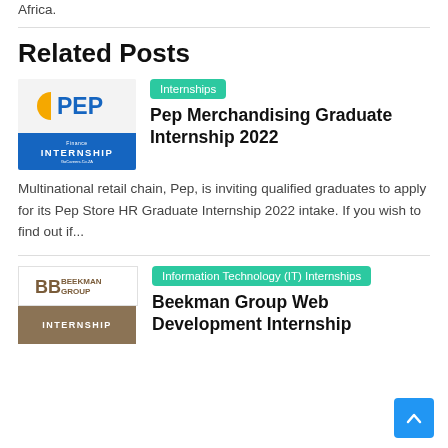Africa.
Related Posts
[Figure (logo): PEP Internship thumbnail with PEP logo on white background and blue INTERNSHIP banner]
Internships
Pep Merchandising Graduate Internship 2022
Multinational retail chain, Pep, is inviting qualified graduates to apply for its Pep Store HR Graduate Internship 2022 intake. If you wish to find out if...
[Figure (logo): Beekman Group Internship thumbnail with Beekman Group logo and brown INTERNSHIP banner]
Information Technology (IT) Internships
Beekman Group Web Development Internship 2022